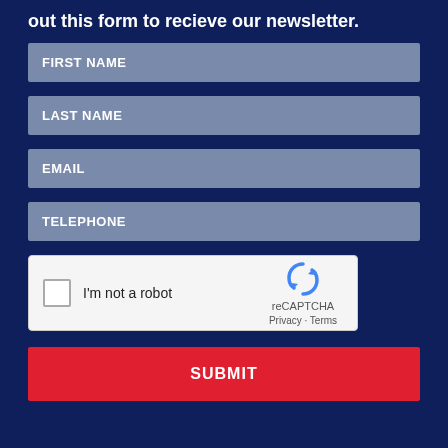out this form to recieve our newsletter.
FIRST NAME
LAST NAME
EMAIL
TELEPHONE
[Figure (other): reCAPTCHA widget with checkbox labeled I'm not a robot, reCAPTCHA logo, Privacy and Terms links]
SUBMIT